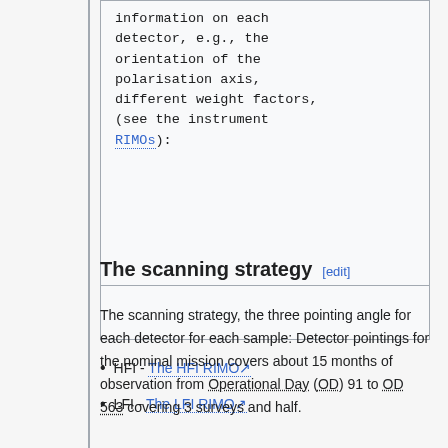information on each detector, e.g., the orientation of the polarisation axis, different weight factors, (see the instrument RIMOs):
HFI - The HFI RIMO
LFI - The LFI RIMO
The scanning strategy [edit]
The scanning strategy, the three pointing angle for each detector for each sample: Detector pointings for the nominal mission covers about 15 months of observation from Operational Day (OD) 91 to OD 563 covering 3 surveys and half.